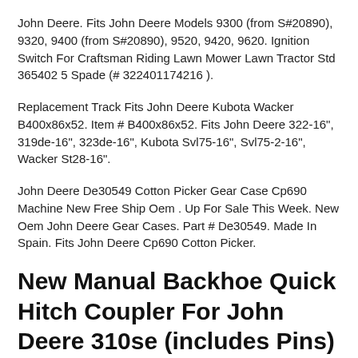John Deere. Fits John Deere Models 9300 (from S#20890), 9320, 9400 (from S#20890), 9520, 9420, 9620. Ignition Switch For Craftsman Riding Lawn Mower Lawn Tractor Std 365402 5 Spade (# 322401174216 ).
Replacement Track Fits John Deere Kubota Wacker B400x86x52. Item # B400x86x52. Fits John Deere 322-16", 319de-16", 323de-16", Kubota Svl75-16", Svl75-2-16", Wacker St28-16".
John Deere De30549 Cotton Picker Gear Case Cp690 Machine New Free Ship Oem . Up For Sale This Week. New Oem John Deere Gear Cases. Part # De30549. Made In Spain. Fits John Deere Cp690 Cotton Picker.
New Manual Backhoe Quick Hitch Coupler For John Deere 310se (includes Pins)
Designed To Fit John Deere 310se And 310g, 310j, 410g, 410j...